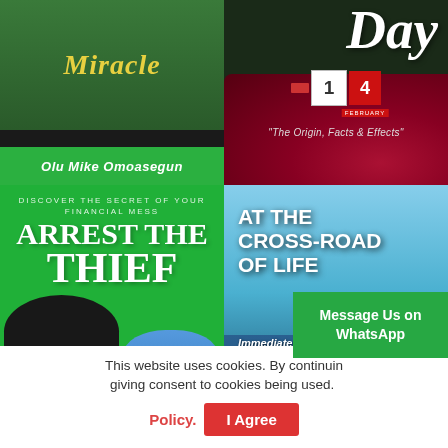[Figure (illustration): Top-left book cover partial view: green background with curved title text in yellow/gold and author name 'Olu Mike Omoasegun' in italic white text on green bar]
[Figure (illustration): Top-right book cover: dark background with cursive 'Day' title, Valentine calendar showing '14 February', berries/roses, subtitle 'The Origin, Facts & Effects']
[Figure (illustration): Bottom-left book cover: 'Arrest the Thief' on green background, subtitle 'DISCOVER THE SECRET OF YOUR FINANCIAL MESS', figures of dark-cloaked person and blue-shirted person]
[Figure (illustration): Bottom-right book cover: 'At the Cross-Road of Life' on sky/mountain background, subtitle 'Immediate Solutions To the Miserable Life', person in yellow jacket sitting on rock]
This website uses cookies. By continuing, you are giving consent to cookies being used.
Policy.
I Agree
Message Us on WhatsApp